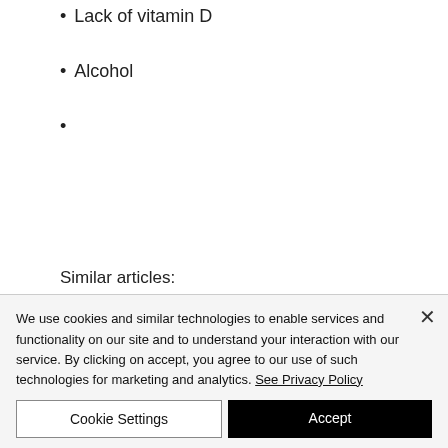• Lack of vitamin D
• Alcohol
•
Similar articles:
https://www.sampasling.com.br/profile/magalibabington1970/profile
https://law.org.ge/community/profile/gsarms33049503/
https://bbuspost.com/6-month-...
We use cookies and similar technologies to enable services and functionality on our site and to understand your interaction with our service. By clicking on accept, you agree to our use of such technologies for marketing and analytics. See Privacy Policy